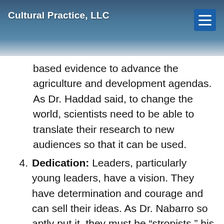Cultural Practice, LLC
based evidence to advance the agriculture and development agendas. As Dr. Haddad said, to change the world, scientists need to be able to translate their research to new audiences so that it can be used.
4. Dedication: Leaders, particularly young leaders, have a vision. They have determination and courage and can sell their ideas. As Dr. Nabarro so aptly put it, they must be “stropists,” his combination of strategic and opportunistic. Leaders take advantage of opportunities to get things done, and the best ones even become